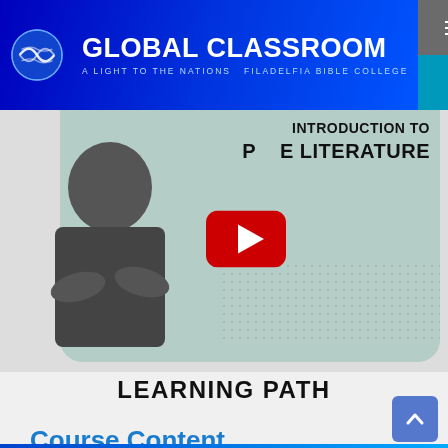[Figure (logo): Global Classroom logo with globe icon, blue gradient background, text: GLOBAL CLASSROOM, A LIGHT TO THE NATIONS - FILADELFIA BIBLE COLLEGE]
[Figure (screenshot): Navigation menu bar with hamburger icon and MENU text on dark gray background, and LOGIN button on cyan background]
[Figure (screenshot): YouTube video thumbnail showing a man with arms crossed, text overlay reading INTRODUCTION TO PROSE LITERATURE with red YouTube play button]
LEARNING PATH
Course Content